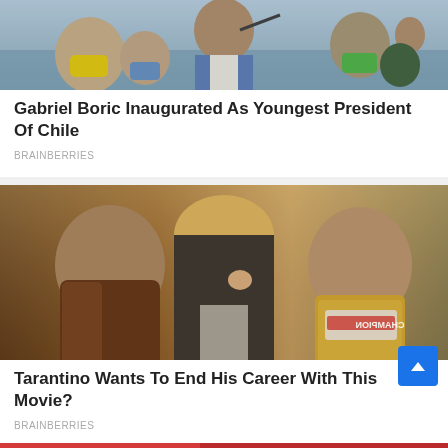[Figure (photo): Photo of Gabriel Boric at a political event, surrounded by people wearing masks, man in blue suit at microphone]
Gabriel Boric Inaugurated As Youngest President Of Chile
BRAINBERRIES
[Figure (photo): Movie promotional photo showing three actors: Leonardo DiCaprio, Margot Robbie, and Brad Pitt from Once Upon a Time in Hollywood]
Tarantino Wants To End His Career With This Movie?
BRAINBERRIES
[Figure (photo): Partial image of another article at the bottom of the page]